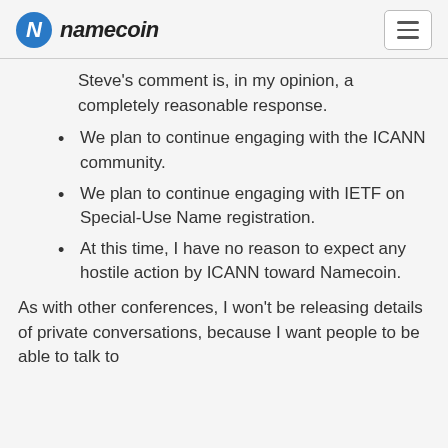namecoin
Steve's comment is, in my opinion, a completely reasonable response.
We plan to continue engaging with the ICANN community.
We plan to continue engaging with IETF on Special-Use Name registration.
At this time, I have no reason to expect any hostile action by ICANN toward Namecoin.
As with other conferences, I won't be releasing details of private conversations, because I want people to be able to talk to